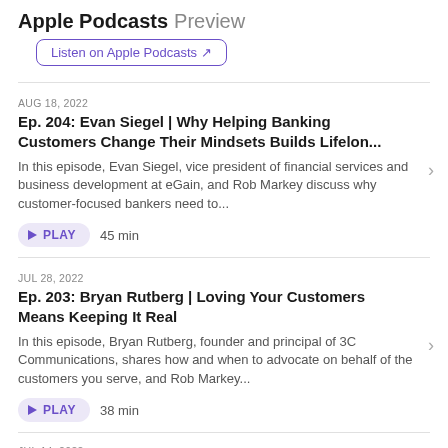Apple Podcasts Preview
Listen on Apple Podcasts
AUG 18, 2022
Ep. 204: Evan Siegel | Why Helping Banking Customers Change Their Mindsets Builds Lifelon...
In this episode, Evan Siegel, vice president of financial services and business development at eGain, and Rob Markey discuss why customer-focused bankers need to...
PLAY  45 min
JUL 28, 2022
Ep. 203: Bryan Rutberg | Loving Your Customers Means Keeping It Real
In this episode, Bryan Rutberg, founder and principal of 3C Communications, shares how and when to advocate on behalf of the customers you serve, and Rob Markey...
PLAY  38 min
JUL 14, 2022